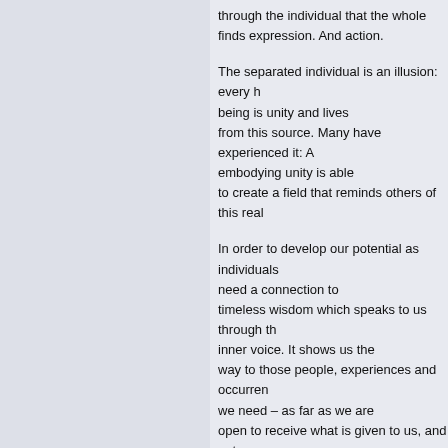through the individual that the whole finds expression. And action.

The separated individual is an illusion: every human being is unity and lives from this source. Many have experienced it: A person embodying unity is able to create a field that reminds others of this reality.

In order to develop our potential as individuals we need a connection to timeless wisdom which speaks to us through the inner voice. It shows us the way to those people, experiences and occurrences we need – as far as we are open to receive what is given to us, and not only what we wish for.

Individual brilliance is born out of the whole and flows back into the whole. How can we find our way to this experience? The summer camp is a chance for something new, a field of research and